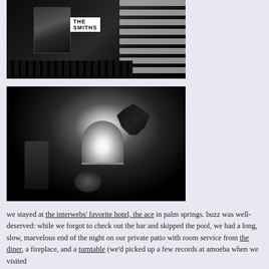[Figure (photo): Black and white photograph of a record shop display featuring 'The Smiths' album cover, with white horizontal slats/blinds in the background and dark metal fencing at the bottom]
[Figure (photo): Black and white photograph of a dark interior room with an arched window glowing white with light, showing a rounded stool on the floor and a chair on the left side, plant silhouette visible]
we stayed at the interwebs' favorite hotel, the ace in palm springs. buzz was well-deserved: while we forgot to check out the bar and skipped the pool, we had a long, slow, marvelous end of the night on our private patio with room service from the diner, a fireplace, and a turntable (we'd picked up a few records at amoeba when we visited